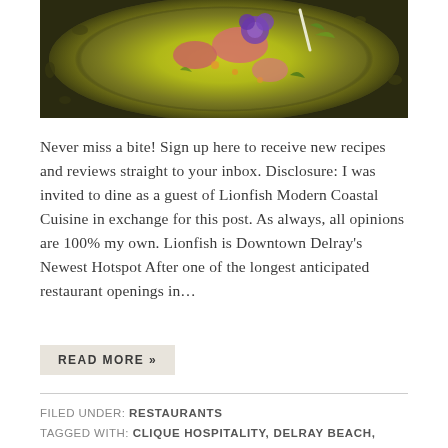[Figure (photo): Top-down view of a gourmet seafood dish in a dark speckled bowl with yellow/green broth, pink fish, purple edible flowers, and green herbs]
Never miss a bite! Sign up here to receive new recipes and reviews straight to your inbox. Disclosure: I was invited to dine as a guest of Lionfish Modern Coastal Cuisine in exchange for this post. As always, all opinions are 100% my own. Lionfish is Downtown Delray's Newest Hotspot After one of the longest anticipated restaurant openings in...
READ MORE »
FILED UNDER: RESTAURANTS
TAGGED WITH: CLIQUE HOSPITALITY, DELRAY BEACH,